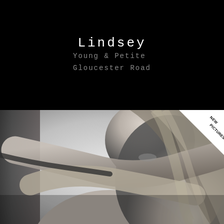Lindsey
Young & Petite
Gloucester Road
[Figure (photo): Black and white close-up photograph of a young blonde woman with long wavy hair, arms crossed in front of her, with a 'NEW PICTURES' badge in the top-right corner of the image.]